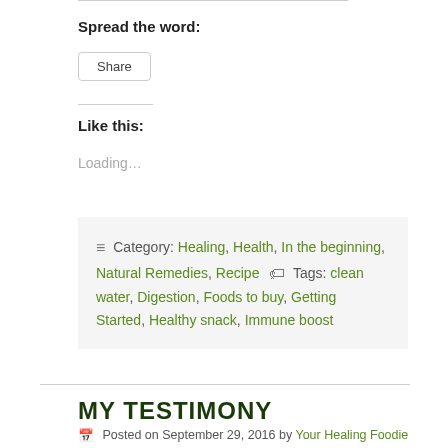Spread the word:
Share
Like this:
Loading...
Category: Healing, Health, In the beginning, Natural Remedies, Recipe  Tags: clean water, Digestion, Foods to buy, Getting Started, Healthy snack, Immune boost
MY TESTIMONY
Posted on September 29, 2016 by Your Healing Foodie
2 Comments